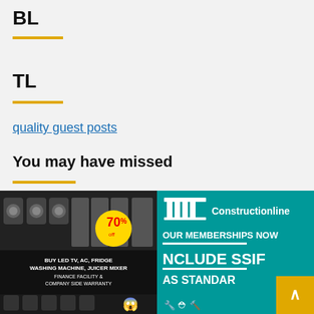BL
TL
quality guest posts
You may have missed
[Figure (photo): Advertisement image for electronics: washing machines, LED TV, AC, fridge. Shows 70% off badge, text: BUY LED TV, AC, FRIDGE WASHING MACHINE, JUICER MIXER FINANCE FACILITY & COMPANY SIDE WARRANTY]
[Figure (photo): Constructionline membership advertisement on teal background. Text: OUR MEMBERSHIPS NOW INCLUDE SSIF AS STANDARD. Back to top yellow button with chevron.]